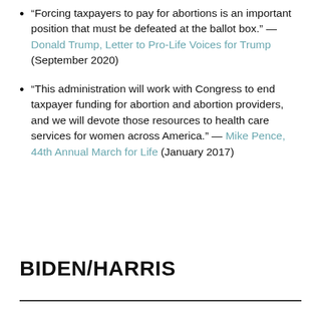“Forcing taxpayers to pay for abortions is an important position that must be defeated at the ballot box.” — Donald Trump, Letter to Pro-Life Voices for Trump (September 2020)
“This administration will work with Congress to end taxpayer funding for abortion and abortion providers, and we will devote those resources to health care services for women across America.” — Mike Pence, 44th Annual March for Life (January 2017)
BIDEN/HARRIS